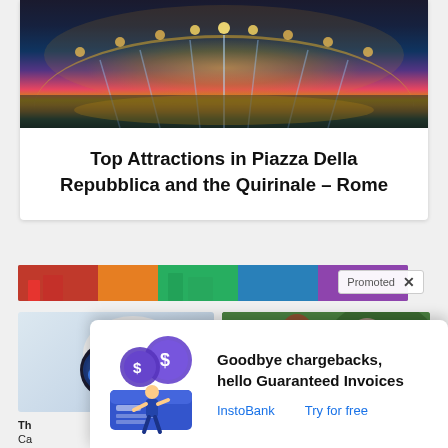[Figure (photo): Night photo of an ornate fountain with warm golden lights reflected on water, architectural arches in background, Piazza della Repubblica Rome]
Top Attractions in Piazza Della Repubblica and the Quirinale – Rome
[Figure (photo): Promotional banner photo of colorful cityscape, with 'Promoted X' badge overlay]
[Figure (photo): Security camera with blue glowing lens]
[Figure (photo): Two people outdoors with a play button overlay, video thumbnail]
Th Ca Cr
In It
[Figure (illustration): InstoBank ad illustration: person with dollar coin, credit card, payment graphic in blue/purple tones]
Goodbye chargebacks, hello Guaranteed Invoices
InstoBank    Try for free